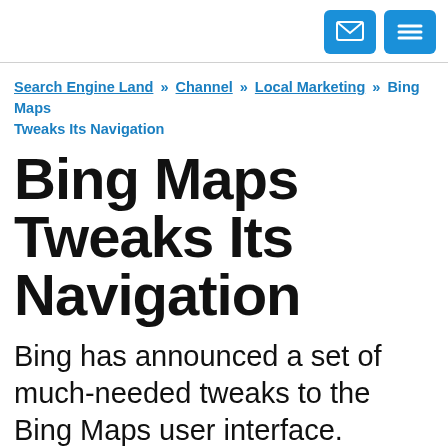[Mail icon] [Menu icon]
Search Engine Land » Channel » Local Marketing » Bing Maps Tweaks Its Navigation
Bing Maps Tweaks Its Navigation
Bing has announced a set of much-needed tweaks to the Bing Maps user interface. Rather than scattering navigation options both above and below (not to mention off